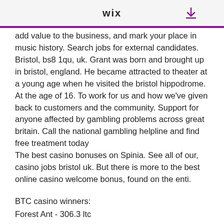WiX
add value to the business, and mark your place in music history. Search jobs for external candidates. Bristol, bs8 1qu, uk. Grant was born and brought up in bristol, england. He became attracted to theater at a young age when he visited the bristol hippodrome. At the age of 16. To work for us and how we've given back to customers and the community. Support for anyone affected by gambling problems across great britain. Call the national gambling helpline and find free treatment today
The best casino bonuses on Spinia. See all of our, casino jobs bristol uk. But there is more to the best online casino welcome bonus, found on the enti.
BTC casino winners:
Forest Ant - 306.3 ltc
Wild Blood - 414 ltc